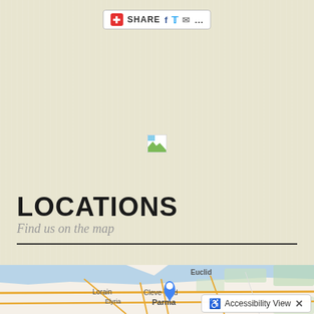[Figure (screenshot): Share toolbar with plus/red button, SHARE text, Facebook icon, Twitter icon, email icon, and dots menu]
[Figure (photo): Broken/unloaded image placeholder icon in center of page]
LOCATIONS
Find us on the map
[Figure (map): Google Maps view showing Cleveland area with location pin on Cleveland, showing Euclid, Lorain, Elyria, and Parma labels. Lake Erie visible on upper left. Accessibility View button visible at bottom.]